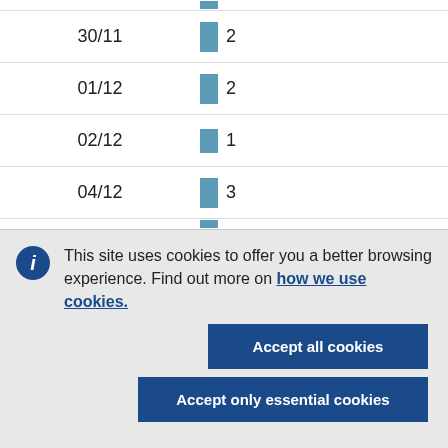| Date | Count |
| --- | --- |
| 30/11 | 2 |
| 01/12 | 2 |
| 02/12 | 1 |
| 04/12 | 3 |
This site uses cookies to offer you a better browsing experience. Find out more on how we use cookies.
Accept all cookies
Accept only essential cookies